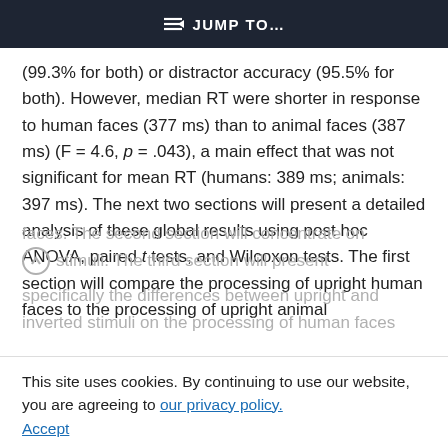JUMP TO...
(99.3% for both) or distractor accuracy (95.5% for both). However, median RT were shorter in response to human faces (377 ms) than to animal faces (387 ms) (F = 4.6, p = .043), a main effect that was not significant for mean RT (humans: 389 ms; animals: 397 ms). The next two sections will present a detailed analysis of these global results using post hoc ANOVA, paired t tests, and Wilcoxon tests. The first section will compare the processing of upright human faces to the processing of upright animal faces. The second section will concentrate on inverted stimuli. The third section will present specifically the differences between upright and inverted stimuli on the processing of human faces
This site uses cookies. By continuing to use our website, you are agreeing to our privacy policy. Accept